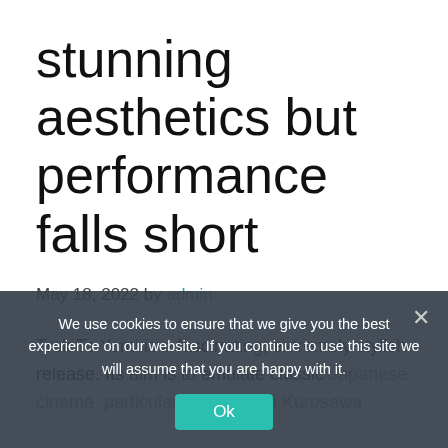stunning aesthetics but performance falls short
May 18, 2022 by admin
Trek To Yomi is a fascinating, extremely stylish release. Its aim is to emulate classic Japanese cinema, particularly those with Kurosawa Everything from the letterboxed, monochromatic presentation right down to the film grain and shot framing are clearly
We use cookies to ensure that we give you the best experience on our website. If you continue to use this site we will assume that you are happy with it.